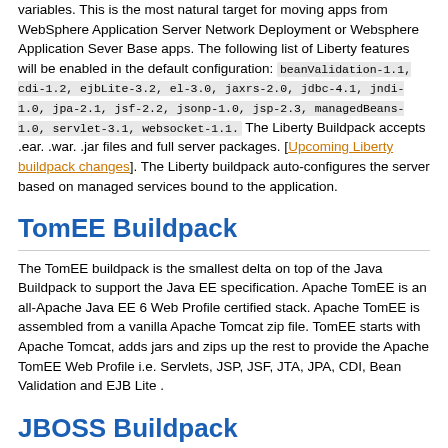variables. This is the most natural target for moving apps from WebSphere Application Server Network Deployment or Websphere Application Sever Base apps. The following list of Liberty features will be enabled in the default configuration: beanValidation-1.1, cdi-1.2, ejbLite-3.2, el-3.0, jaxrs-2.0, jdbc-4.1, jndi-1.0, jpa-2.1, jsf-2.2, jsonp-1.0, jsp-2.3, managedBeans-1.0, servlet-3.1, websocket-1.1. The Liberty Buildpack accepts .ear. .war. .jar files and full server packages. [Upcoming Liberty buildpack changes]. The Liberty buildpack auto-configures the server based on managed services bound to the application.
TomEE Buildpack
The TomEE buildpack is the smallest delta on top of the Java Buildpack to support the Java EE specification. Apache TomEE is an all-Apache Java EE 6 Web Profile certified stack. Apache TomEE is assembled from a vanilla Apache Tomcat zip file. TomEE starts with Apache Tomcat, adds jars and zips up the rest to provide the Apache TomEE Web Profile i.e. Servlets, JSP, JSF, JTA, JPA, CDI, Bean Validation and EJB Lite .
JBOSS Buildpack
The JBOSS Buildpack provisions full and web profile implementations of Java EE. The buildpack only stages war files and has no support for ear files. JBOSS Buildpack function is currently being enhanced to